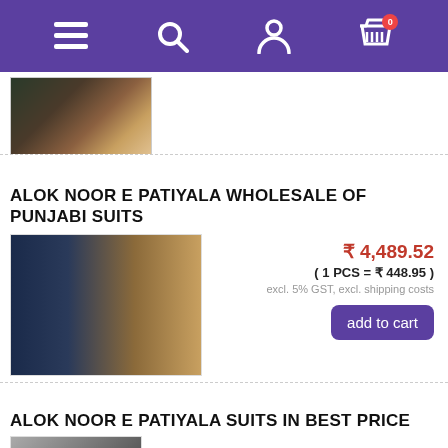[Figure (screenshot): Purple navigation bar with hamburger menu, search icon, user icon, and shopping cart icon with badge showing 0]
[Figure (photo): Thumbnail image of Punjabi suits product]
ALOK NOOR E PATIYALA WHOLESALE OF PUNJABI SUITS
[Figure (photo): Product image showing two models wearing Alok Noor E Patiyala Punjabi suits]
₹ 4,489.52
( 1 PCS = ₹ 448.95 )
excl. 5% GST, excl. shipping costs
add to cart
ALOK NOOR E PATIYALA SUITS IN BEST PRICE
₹ 4,489.52